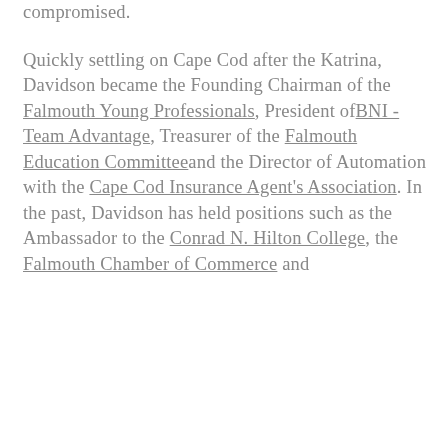compromised. Quickly settling on Cape Cod after the Katrina, Davidson became the Founding Chairman of the Falmouth Young Professionals, President ofBNI - Team Advantage, Treasurer of the Falmouth Education Committeeand the Director of Automation with the Cape Cod Insurance Agent's Association. In the past, Davidson has held positions such as the Ambassador to the Conrad N. Hilton College, the Falmouth Chamber of Commerce and